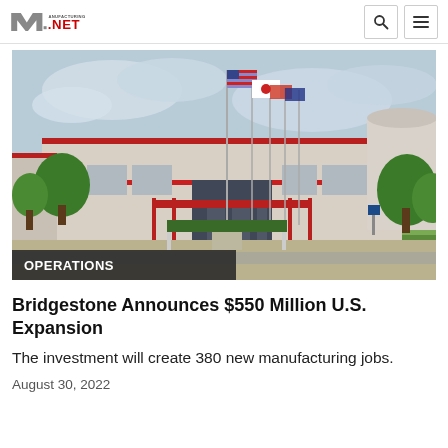Manufacturing.NET
[Figure (photo): Exterior of a Bridgestone manufacturing facility with flagpoles flying American, Japanese, and other flags in front of a large industrial building with red trim accents.]
OPERATIONS
Bridgestone Announces $550 Million U.S. Expansion
The investment will create 380 new manufacturing jobs.
August 30, 2022